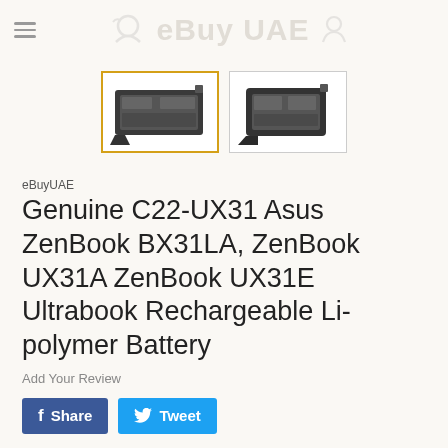eBuyUAE
[Figure (photo): Two thumbnail images of the Asus C22-UX31 laptop battery - first thumbnail selected with gold border, second thumbnail unselected]
eBuyUAE
Genuine C22-UX31 Asus ZenBook BX31LA, ZenBook UX31A ZenBook UX31E Ultrabook Rechargeable Li-polymer Battery
Add Your Review
Share  Tweet
Battery rating: 7.4V
Battery capacity: 35Wh